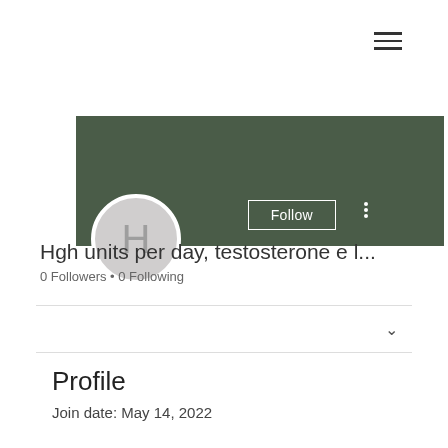[Figure (screenshot): Hamburger menu icon (three horizontal lines) in top-right corner]
[Figure (screenshot): User profile banner with dark green background, avatar circle with letter H, Follow button, and more options dots]
Hgh units per day, testosterone e l...
0 Followers • 0 Following
Profile
Join date: May 14, 2022